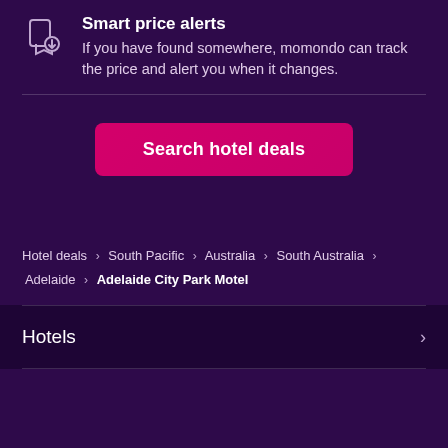Smart price alerts
If you have found somewhere, momondo can track the price and alert you when it changes.
Search hotel deals
Hotel deals > South Pacific > Australia > South Australia > Adelaide > Adelaide City Park Motel
Hotels